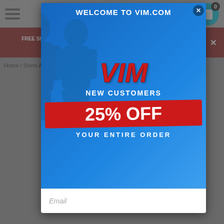FREE SHIPPING!!! All $15+ and EXTRA 5% OFF $250+ orders LIMITED TIME, shopvim.com coupon used.
Home / Shirts All that Roberts...
[Figure (infographic): VIM.com promotional popup modal with blue background showing a couple, text reading WELCOME TO VIM.COM, VIM in large red italic letters, NEW CUSTOMERS, 25% OFF YOUR ENTIRE ORDER in red banner, and an Email input field at the bottom.]
Email